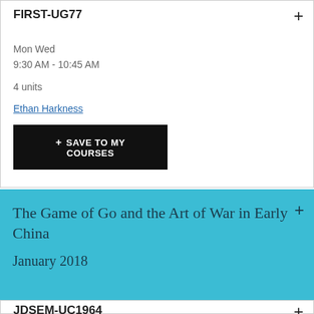FIRST-UG77
Mon Wed
9:30 AM - 10:45 AM
4 units
Ethan Harkness
+ SAVE TO MY COURSES
The Game of Go and the Art of War in Early China
January 2018
JDSEM-UC1964